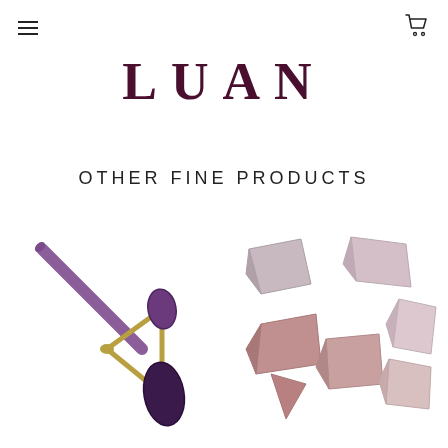Navigation menu and cart icon
LUAN
OTHER FINE PRODUCTS
[Figure (photo): An amethyst face roller with a gold-toned metal frame and two purple/dark amethyst stone rollers, one large and one small, connected by a gold handle.]
[Figure (photo): A collection of raw rose quartz and pink crystal stones of various sizes scattered on a white background.]